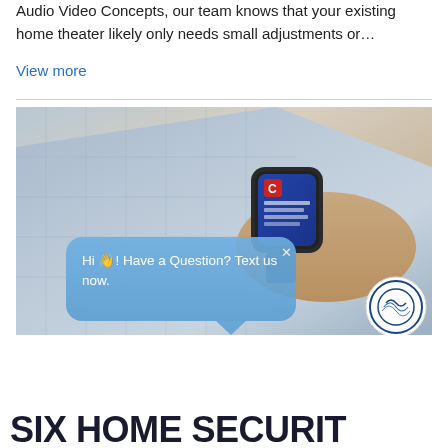Audio Video Concepts, our team knows that your existing home theater likely only needs small adjustments or…
View more
[Figure (photo): Person wearing a blue checked dress shirt with a smartwatch on wrist showing a notification screen. A blue chat bubble overlay reads 'Hi 👋! Have a Question? Text us now.' with an X close button. A circular logo appears in bottom right corner.]
SIX HOME SECURIT